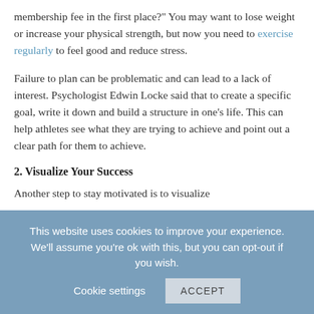membership fee in the first place?" You may want to lose weight or increase your physical strength, but now you need to exercise regularly to feel good and reduce stress.
Failure to plan can be problematic and can lead to a lack of interest. Psychologist Edwin Locke said that to create a specific goal, write it down and build a structure in one's life. This can help athletes see what they are trying to achieve and point out a clear path for them to achieve.
2. Visualize Your Success
Another step to stay motivated is to visualize
This website uses cookies to improve your experience. We'll assume you're ok with this, but you can opt-out if you wish.  Cookie settings  ACCEPT